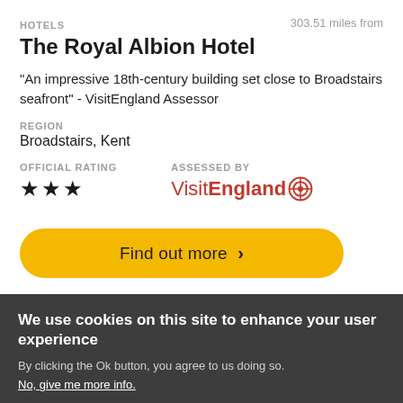HOTELS | 303.51 miles from
The Royal Albion Hotel
"An impressive 18th-century building set close to Broadstairs seafront" - VisitEngland Assessor
REGION
Broadstairs, Kent
OFFICIAL RATING | ASSESSED BY
★★★ | VisitEngland
Find out more >
We use cookies on this site to enhance your user experience
By clicking the Ok button, you agree to us doing so.
No, give me more info.
No, thanks | OK, I agree